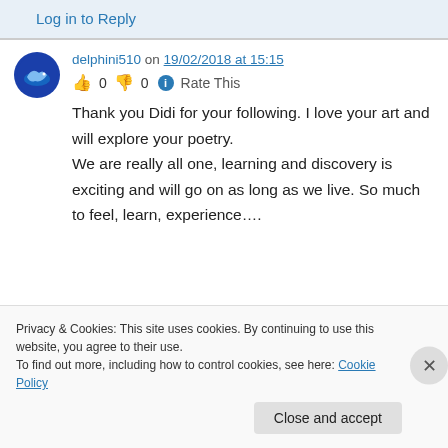Log in to Reply
delphini510 on 19/02/2018 at 15:15
👍 0 👎 0 ℹ Rate This
Thank you Didi for your following. I love your art and will explore your poetry.
We are really all one, learning and discovery is exciting and will go on as long as we live. So much to feel, learn, experience....
Privacy & Cookies: This site uses cookies. By continuing to use this website, you agree to their use.
To find out more, including how to control cookies, see here: Cookie Policy
Close and accept